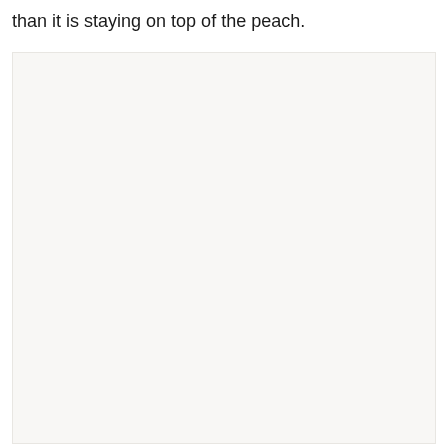than it is staying on top of the peach.
[Figure (other): A large light beige/off-white rectangular image placeholder area, mostly blank with a very subtle warm background color.]